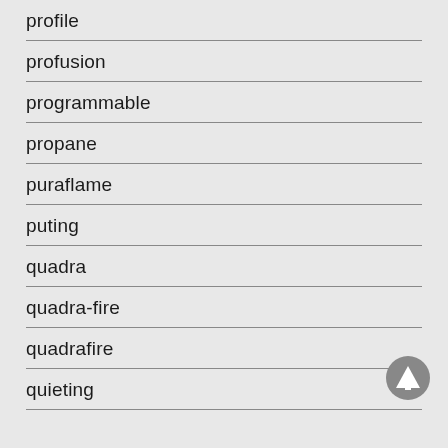profile
profusion
programmable
propane
puraflame
puting
quadra
quadra-fire
quadrafire
quieting